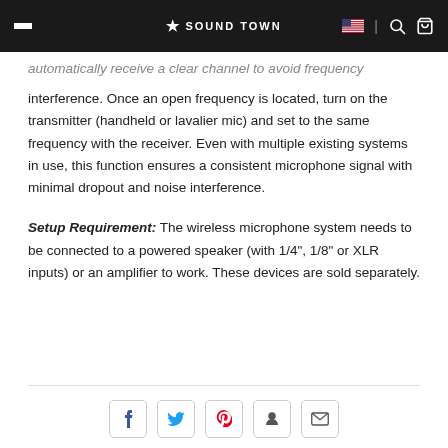SOUND TOWN
automatically receive a clear channel to avoid frequency interference. Once an open frequency is located, turn on the transmitter (handheld or lavalier mic) and set to the same frequency with the receiver. Even with multiple existing systems in use, this function ensures a consistent microphone signal with minimal dropout and noise interference.
Setup Requirement: The wireless microphone system needs to be connected to a powered speaker (with 1/4", 1/8" or XLR inputs) or an amplifier to work. These devices are sold separately.